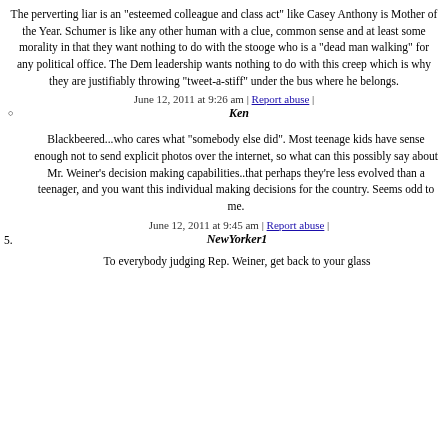The perverting liar is an "esteemed colleague and class act" like Casey Anthony is Mother of the Year. Schumer is like any other human with a clue, common sense and at least some morality in that they want nothing to do with the stooge who is a "dead man walking" for any political office. The Dem leadership wants nothing to do with this creep which is why they are justifiably throwing "tweet-a-stiff" under the bus where he belongs.
June 12, 2011 at 9:26 am | Report abuse |
Ken
Blackbeered...who cares what "somebody else did". Most teenage kids have sense enough not to send explicit photos over the internet, so what can this possibly say about Mr. Weiner's decision making capabilities..that perhaps they're less evolved than a teenager, and you want this individual making decisions for the country. Seems odd to me.
June 12, 2011 at 9:45 am | Report abuse |
NewYorker1
To everybody judging Rep. Weiner, get back to your glass